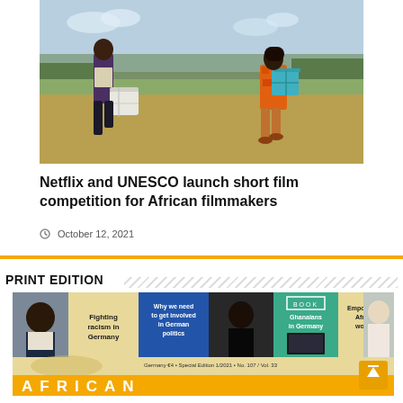[Figure (photo): Two people running across an open field carrying luggage — a man with a white suitcase and a woman in colorful African print dress with a teal box]
Netflix and UNESCO launch short film competition for African filmmakers
October 12, 2021
PRINT EDITION
[Figure (photo): African Courier magazine cover showing: Fighting racism in Germany, Why we need to get involved in German politics, BOOK Ghanaians in Germany, Empowering African women. Germany €4 • Special Edition 1/2021 • No. 107 / Vol. 33]